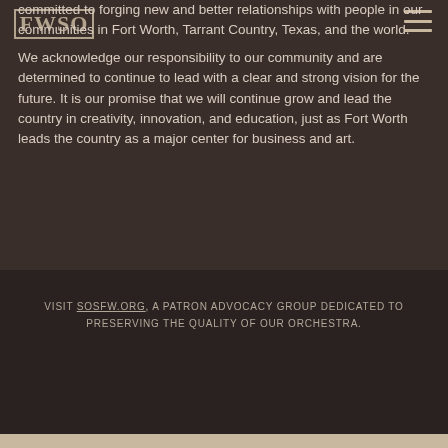FWSO
committed to forging new and better relationships with people in our communities in Fort Worth, Tarrant Country, Texas, and the world.
We acknowledge our responsibility to our community and are determined to continue to lead with a clear and strong vision for the future. It is our promise that we will continue grow and lead the country in creativity, innovation, and education, just as Fort Worth leads the country as a major center for business and art.
VISIT SOSFW.ORG, A PATRON ADVOCACY GROUP DEDICATED TO PRESERVING THE QUALITY OF OUR ORCHESTRA.